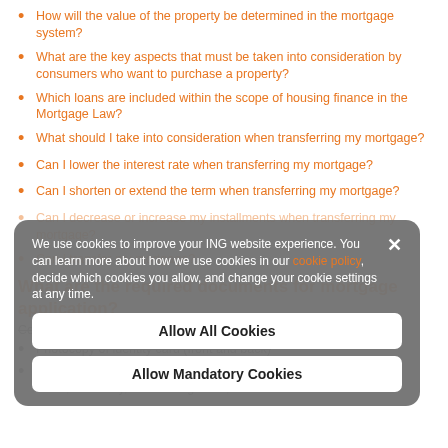How will the value of the property be determined in the mortgage system?
What are the key aspects that must be taken into consideration by consumers who want to purchase a property?
Which loans are included within the scope of housing finance in the Mortgage Law?
What should I take into consideration when transferring my mortgage?
Can I lower the interest rate when transferring my mortgage?
Can I shorten or extend the term when transferring my mortgage?
Can I decrease or increase my installments when transferring my mortgage?
Can I transfer my mortgage?
What are the required documents for mortgage application?
Common documents for real persons:
Photocopy of identity card (front and back)
Certificate of residency, or paid telephone (except mobile phone), water, electricity, or natural gas bill, issued within the last 3
[Figure (screenshot): Cookie consent overlay with message about ING website cookie usage, with 'Allow All Cookies' and 'Allow Mandatory Cookies' buttons.]